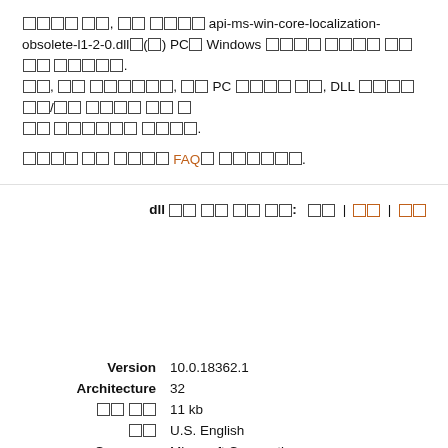다운로드 전에, 위의 정보를 api-ms-win-core-localization-obsolete-l1-2-0.dll을(를) PC의 Windows 관련된 버전과 일치하는지 확인하세요. 또한, 동일한 언어에서, 유사한 PC 버전을 선택, DLL 파일을 32비트/64비트 버전의 올바 른지 확인하세요.
자세한 사항은 당사의 FAQ를 참고하세요.
dll 파일 다운 방법:  현재 | 다운로드 | 다운로드
| Version | 10.0.18362.1 |
| Architecture | 32 |
| 파일 크기 | 11 kb |
| 언어 | U.S. English |
| Company | Microsoft Corporation |
| 설명 | ApiSet Stub DLL |
MD5: fe4970Zbc56e1e8d183e2cc12192143e